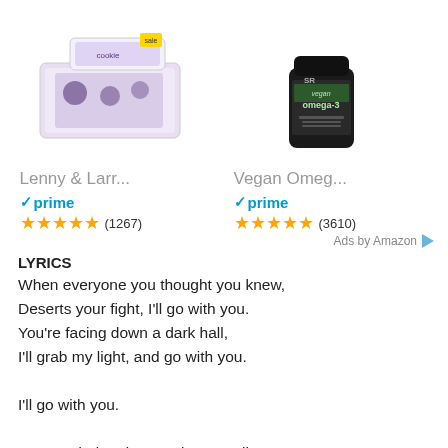[Figure (photo): Product image of Lenny & Larry's protein cookie bars box]
Lenny & Larr...
prime
★★★★★ (1267)
[Figure (photo): Product image of Vegan Omega-3 supplement bottle in dark container]
Vegan Omeg...
prime
★★★★★ (3610)
Ads by Amazon
LYRICS
When everyone you thought you knew,
Deserts your fight, I'll go with you.
You're facing down a dark hall,
I'll grab my light, and go with you.

I'll go with you.

Surrounded and up against a wall,
I'll shred them all, and go with you.